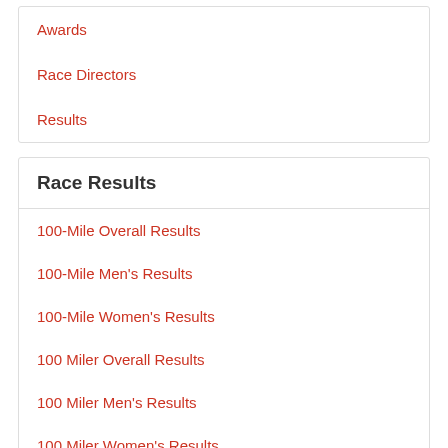Awards
Race Directors
Results
Race Results
100-Mile Overall Results
100-Mile Men's Results
100-Mile Women's Results
100 Miler Overall Results
100 Miler Men's Results
100 Miler Women's Results
100 Miler Pacer Overall Results